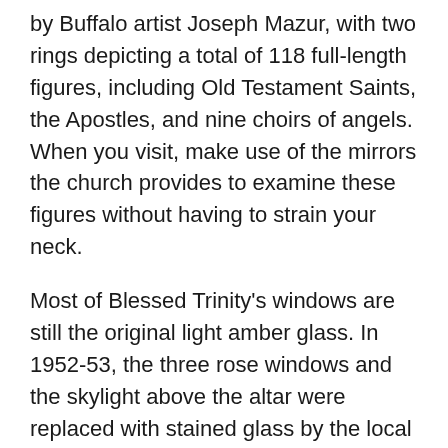by Buffalo artist Joseph Mazur, with two rings depicting a total of 118 full-length figures, including Old Testament Saints, the Apostles, and nine choirs of angels. When you visit, make use of the mirrors the church provides to examine these figures without having to strain your neck.
Most of Blessed Trinity's windows are still the original light amber glass. In 1952-53, the three rose windows and the skylight above the altar were replaced with stained glass by the local Frohe Studio. Each rose window shows one of the Three Mysteries of the Rosary: the Joyful, Sorrowful, and Glorious Mysteries. The three rose windows each weigh nearly 500 pounds and contain approximately 6,000 pieces of glass with 250 shades of color, and cost $2,900 per window in 1952 (equivalent to about $28,000 in 2020). The skylight above the altar is the most valuable of the windows in Blessed Trinity. With